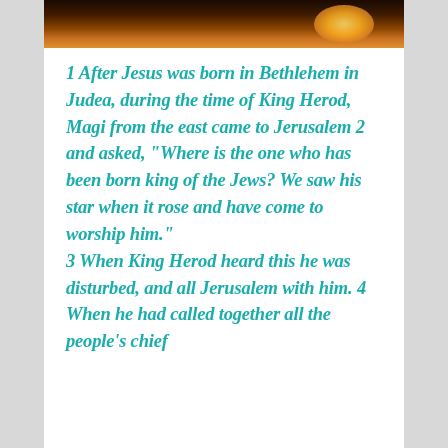[Figure (photo): Dark photo strip showing a warm glowing light (star or light source) against a dark background, decorative header image]
1 After Jesus was born in Bethlehem in Judea, during the time of King Herod, Magi from the east came to Jerusalem 2 and asked, “Where is the one who has been born king of the Jews? We saw his star when it rose and have come to worship him.” 3 When King Herod heard this he was disturbed, and all Jerusalem with him. 4 When he had called together all the people’s chief